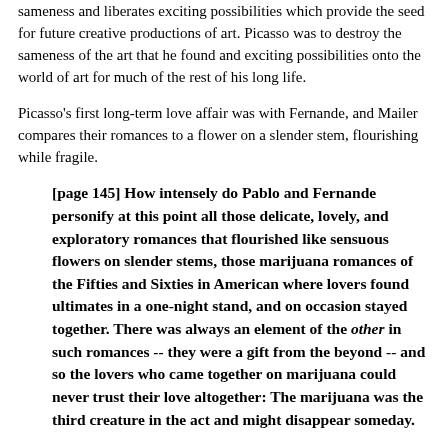sameness and liberates exciting possibilities which provide the seed for future creative productions of art. Picasso was to destroy the sameness of the art that he found and exciting possibilities onto the world of art for much of the rest of his long life.
Picasso's first long-term love affair was with Fernande, and Mailer compares their romances to a flower on a slender stem, flourishing while fragile.
[page 145] How intensely do Pablo and Fernande personify at this point all those delicate, lovely, and exploratory romances that flourished like sensuous flowers on slender stems, those marijuana romances of the Fifties and Sixties in American where lovers found ultimates in a one-night stand, and on occasion stayed together. There was always an element of the other in such romances -- they were a gift from the beyond -- and so the lovers who came together on marijuana could never trust their love altogether: The marijuana was the third creature in the act and might disappear someday.